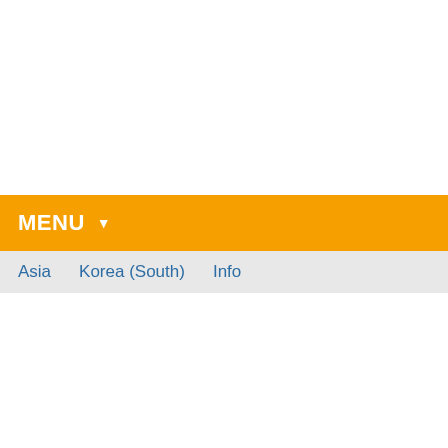MENU ▼
Asia   Korea (South)   Info